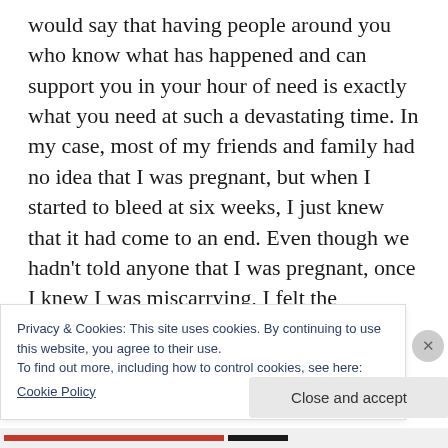would say that having people around you who know what has happened and can support you in your hour of need is exactly what you need at such a devastating time. In my case, most of my friends and family had no idea that I was pregnant, but when I started to bleed at six weeks, I just knew that it had come to an end. Even though we hadn't told anyone that I was pregnant, once I knew I was miscarrying, I felt the desperate need to reach out and let people know, partly for support, but mostly because I
Privacy & Cookies: This site uses cookies. By continuing to use this website, you agree to their use.
To find out more, including how to control cookies, see here:
Cookie Policy
Close and accept